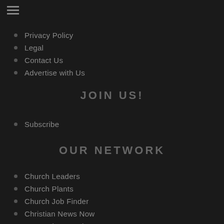[Figure (other): Hamburger menu icon (three horizontal lines)]
Privacy Policy
Legal
Contact Us
Advertise with Us
JOIN US!
Subscribe
OUR NETWORK
Church Leaders
Church Plants
Church Job Finder
Christian News Now
Outreach Magazine